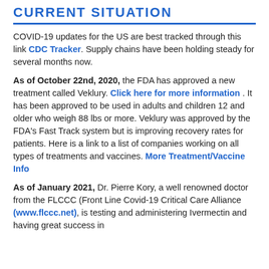CURRENT SITUATION
COVID-19 updates for the US are best tracked through this link CDC Tracker. Supply chains have been holding steady for several months now.
As of October 22nd, 2020, the FDA has approved a new treatment called Veklury. Click here for more information . It has been approved to be used in adults and children 12 and older who weigh 88 lbs or more. Veklury was approved by the FDA's Fast Track system but is improving recovery rates for patients. Here is a link to a list of companies working on all types of treatments and vaccines. More Treatment/Vaccine Info
As of January 2021, Dr. Pierre Kory, a well renowned doctor from the FLCCC (Front Line Covid-19 Critical Care Alliance (www.flccc.net), is testing and administering Ivermectin and having great success in